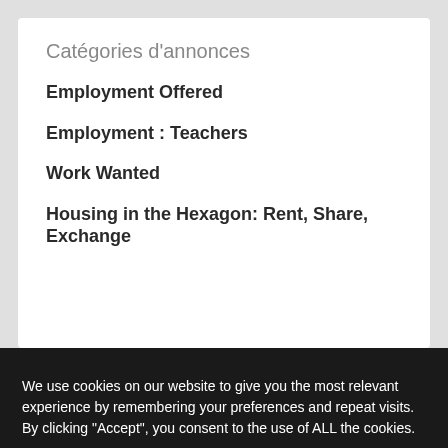Catégories d’annonces
Employment Offered
Employment : Teachers
Work Wanted
Housing in the Hexagon: Rent, Share, Exchange
We use cookies on our website to give you the most relevant experience by remembering your preferences and repeat visits. By clicking “Accept”, you consent to the use of ALL the cookies.
Cookie settings | ACCEPT